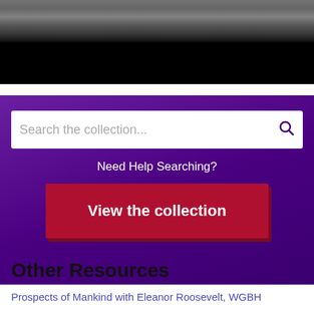[Figure (photo): Grayscale photo strip at top of page showing partial figure]
Search the collection...
Need Help Searching?
View the collection
Other Resources
Prospects of Mankind with Eleanor Roosevelt, WGBH